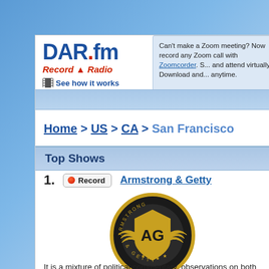[Figure (logo): DAR.fm Record Radio logo with tagline and 'See how it works' link]
Can't make a Zoom meeting? Now record any Zoom call with Zoomcorder. S... and attend virtually. Download and... anytime.
Home > US > CA > San Francisco
Top Shows
display shows only
1. Record Armstrong & Getty
[Figure (logo): Armstrong & Getty radio show logo - circular gold/black emblem with wings and AG letters]
It is a mixture of political commentary, observations on both local and national news and reflections on social issues presented with humor. Armstrong and Getty describe their humor